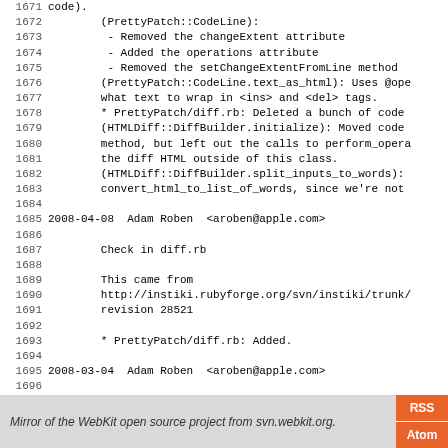Code listing lines 1671-1699 showing changelog entries for PrettyPatch and WebKit project
Mirror of the WebKit open source project from svn.webkit.org.